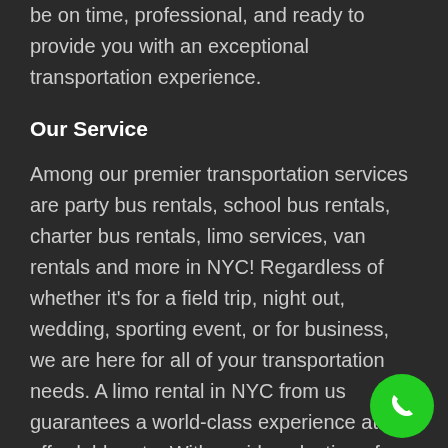be on time, professional, and ready to provide you with an exceptional transportation experience.
Our Service
Among our premier transportation services are party bus rentals, school bus rentals, charter bus rentals, limo services, van rentals and more in NYC! Regardless of whether it’s for a field trip, night out, wedding, sporting event, or for business, we are here for all of your transportation needs. A limo rental in NYC from us guarantees a world-class experience at an affordable rate. With a wide selection of limos to choose from and experien
[Figure (illustration): Green circular phone call button in the bottom-right corner]